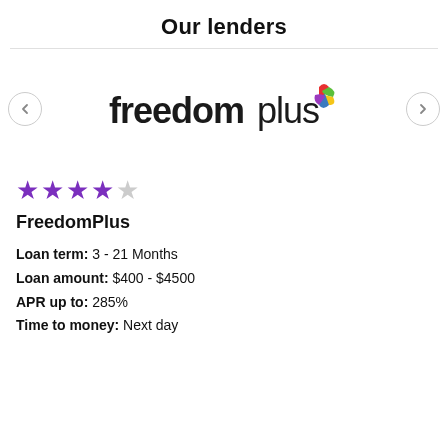Our lenders
[Figure (logo): FreedomPlus logo with colorful pinwheel icon, text 'freedom' in bold dark and 'plus' in lighter weight]
[Figure (other): 4 out of 5 purple stars rating]
FreedomPlus
Loan term: 3 - 21 Months
Loan amount: $400 - $4500
APR up to: 285%
Time to money: Next day